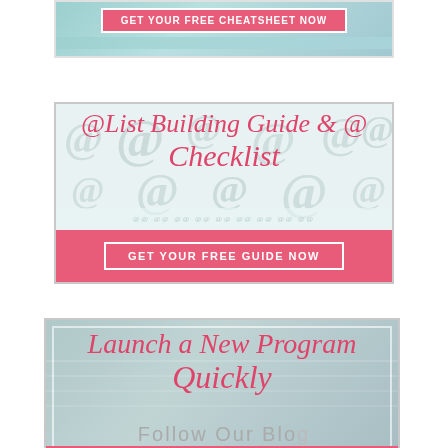[Figure (infographic): Banner ad with teal/mint background and pink button reading GET YOUR FREE CHEATSHEET NOW (partially cropped at top)]
[Figure (infographic): Banner ad with @ symbol watermark background. Script text: List Building Guide & Checklist. Pink button: GET YOUR FREE GUIDE NOW]
[Figure (infographic): Banner ad with teal/gray background showing notebook. Script text: Launch a New Program Quickly. Pink button: GET YOUR FREE CHECKLIST NOW]
Follow Our Blog